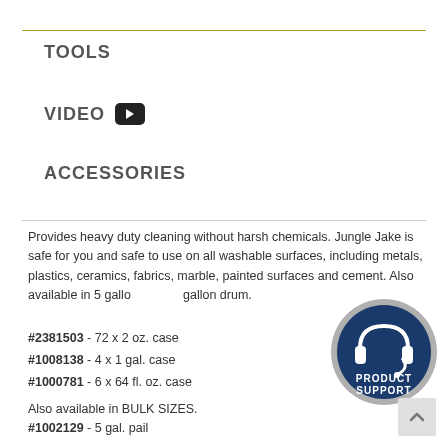TOOLS
VIDEO
ACCESSORIES
Provides heavy duty cleaning without harsh chemicals. Jungle Jake is safe for you and safe to use on all washable surfaces, including metals, plastics, ceramics, fabrics, marble, painted surfaces and cement. Also available in 5 gallon and 55 gallon drum.
#2381503 - 72 x 2 oz. case
#1008138 - 4 x 1 gal. case
#1000781 - 6 x 64 fl. oz. case
Also available in BULK SIZES.
#1002129 - 5 gal. pail